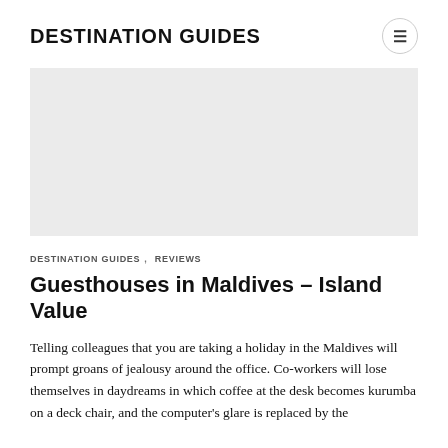DESTINATION GUIDES
[Figure (photo): Large hero image placeholder with light grey background]
DESTINATION GUIDES   REVIEWS
Guesthouses in Maldives – Island Value
Telling colleagues that you are taking a holiday in the Maldives will prompt groans of jealousy around the office. Co-workers will lose themselves in daydreams in which coffee at the desk becomes kurumba on a deck chair, and the computer's glare is replaced by the